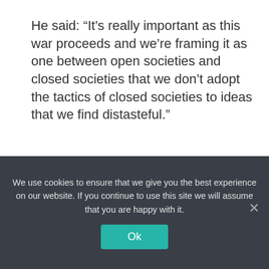He said: “It’s really important as this war proceeds and we’re framing it as one between open societies and closed societies that we don’t adopt the tactics of closed societies to ideas that we find distasteful.”
Tech news
< LG is bringing flexible OLED to a wild, rotating easy chair
> Armach Robotics Set To Take The Pole
We use cookies to ensure that we give you the best experience on our website. If you continue to use this site we will assume that you are happy with it.